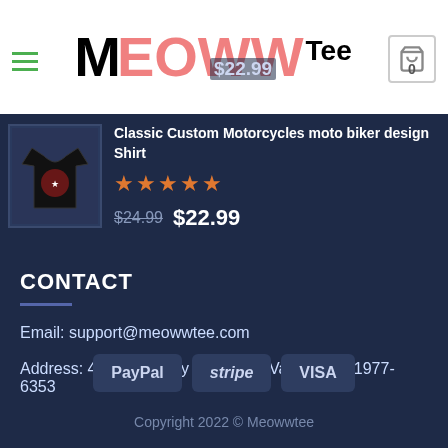MEOWW Tee — navigation header with logo and cart
[Figure (screenshot): Product thumbnail image of a black t-shirt with motorcycle design]
Classic Custom Motorcycles moto biker design Shirt
[Figure (other): 5 orange star rating icons]
$24.99  $22.99
CONTACT
Email: support@meowwtee.com
Address: 452 Ridgeway Ct, Spring Valley, CA 91977-6353
[Figure (other): Payment method badges: PayPal, stripe, VISA]
Copyright 2022 © Meowwtee